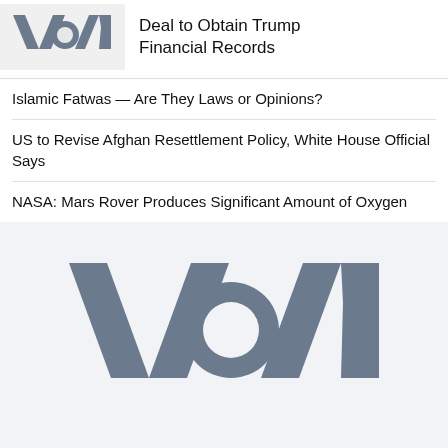[Figure (logo): VOA (Voice of America) logo in dark grey on light grey background, top left article thumbnail]
Deal to Obtain Trump Financial Records
Islamic Fatwas — Are They Laws or Opinions?
US to Revise Afghan Resettlement Policy, White House Official Says
NASA: Mars Rover Produces Significant Amount of Oxygen
[Figure (logo): Large VOA (Voice of America) logo centered on light grey background]